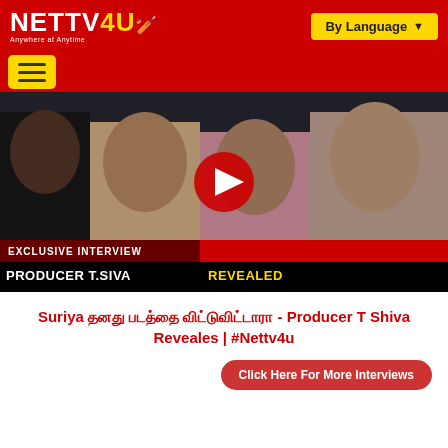[Figure (logo): NETTV4U logo with tagline Anywhere at Anytime on red background]
[Figure (screenshot): YouTube video thumbnail for exclusive interview with Producer T. Siva, showing faces of film celebrities with red play button overlay. Text reads: EXCLUSIVE INTERVIEW, PRODUCER T.SIVA REVEALED]
Suriya தனது படத்தை விட்டுவிட்டாரா - Producer T Shiva Reveales | #Nettv4u
Click Here For More Interviews